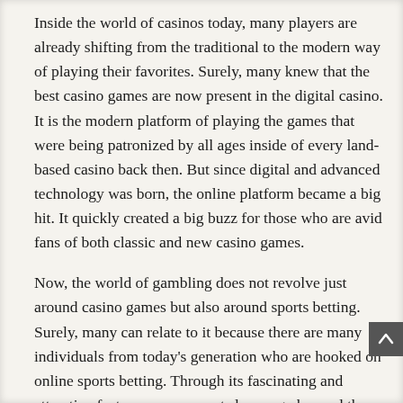Inside the world of casinos today, many players are already shifting from the traditional to the modern way of playing their favorites. Surely, many knew that the best casino games are now present in the digital casino. It is the modern platform of playing the games that were being patronized by all ages inside of every land-based casino back then. But since digital and advanced technology was born, the online platform became a big hit. It quickly created a big buzz for those who are avid fans of both classic and new casino games.
Now, the world of gambling does not revolve just around casino games but also around sports betting. Surely, many can relate to it because there are many individuals from today's generation who are hooked on online sports betting. Through its fascinating and attractive features, many sports lovers go beyond the sports itself. They thought of experiencing more fun through engaging with sports and online betting. It makes their time engaging with sports more exciting and interesting.
How To Choose The Best Agent